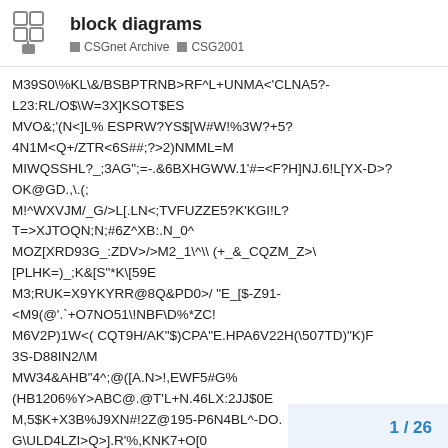block diagrams | CSGnet Archive | CSG2001
M39S0\%KL\&/BSBPTRNB>RF^L+UNMA<'CLNA5?-L23:RL/O$\W=3X]KSOT$ES
MVO&;'(N<]L% ESPRW?YS$[W#W!%3W?+5?
4N1M<Q+/ZTR<6S##;?>2)NMML=M
MIWQSSHL?_;3AG";=-.&6BXHGWW.1'#=<F?H]NJ.6!L[YX-D>?OK@GD.,\.(;
M!^WXVJM/_G/>L[.LN<;TVFUZZE5?K'KGI!L?
T=>XJTOQN;N;#6Z^XB:.N_0^
MOZ[XRD93G_:ZDV>/>M2_1\^\\ (+_&_CQZM_Z>\
[PLHK=)_;K&[S"*K\[59E
M3;RUK=X9YKYRR@8Q&PD0>/ "E_[$-Z91-
<M9(@'.`+O7NO51\!NBF\D%*ZC!
M6V2P)1W<( CQT9H/AK"$)CPA"E.HPA6V22H(\507TD)"K)F
3S-D88IN2/\M
MW34&AHB"4^;@([A.N>!,EWF5#G%
(HB1206%Y>ABC@.@T'L+N.46LX:2JJ$0E
M,5$K+X3B%J9XN#!2Z@195-P6N4BL^-DO.
G\ULD4LZI>Q>].R'%,KNK7+O[0
MBHW08E;U[K<L[KW."<C*6 "MA2UMW8I
1 / 26